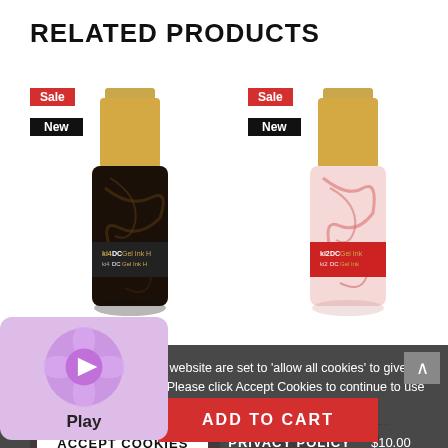RELATED PRODUCTS
[Figure (photo): DND Gel Ink Gold 14 nail polish bottle with dark/black marble pattern and gold cap, with Sale and New badges]
[Figure (photo): DND Gel Ink Burgundy nail polish bottle with pink/red marble pattern and gold cap, with Sale and New badges]
DND
Ink Gold 14
DND
DND Gel Ink Burgundy 1...
$10.00
The cookie settings on this website are set to 'allow all cookies' to give you the very best experience. Please click Accept Cookies to continue to use the site.
ACCEPT COOKIES
PRIVACY POLICY
[Figure (illustration): Purple Play button widget with circular icon and Play label]
Play
ADD TO CART